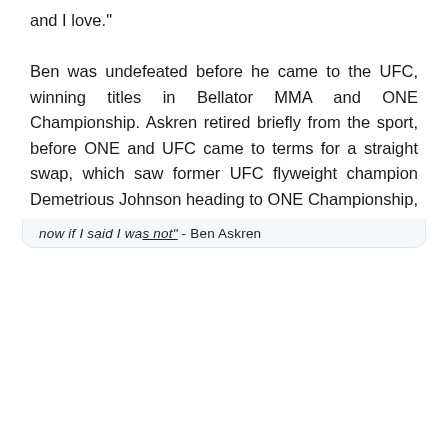and I love."
Ben was undefeated before he came to the UFC, winning titles in Bellator MMA and ONE Championship. Askren retired briefly from the sport, before ONE and UFC came to terms for a straight swap, which saw former UFC flyweight champion Demetrious Johnson heading to ONE Championship, while Ben Askren came to the UFC.
[Figure (screenshot): Embedded tweet from Ariel Helwani (@arielhelwani) with blue verified checkmark and Twitter bird logo. Tweet text: 'Ben Askren is contemplating retirement. Full interview from today's show: youtu.be/wHKBpW6ohmo'. Partially visible text at bottom: 'now if I said I was not' - Ben Askren.]